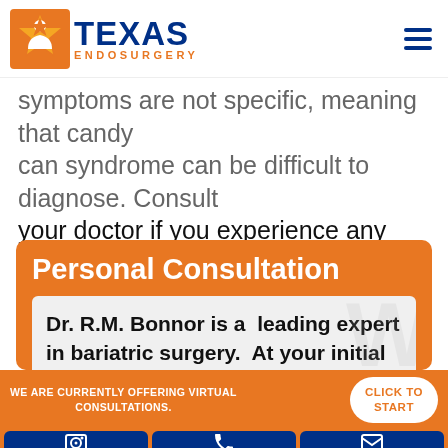[Figure (logo): Texas Endosurgery logo with orange star/figure icon and blue TEXAS ENDOSURGERY text, plus hamburger menu icon]
symptoms are not specific, meaning that candy… can syndrome can be difficult to diagnose. Consult your doctor if you experience any unexpected pain or discomfort following your gastric bypass surgery.
Personal Consultation
Dr. R.M. Bonnor is a  leading expert in bariatric surgery.  At your initial appointment, Dr. Bonnor will review your
WE ARE CURRENTLY OFFERING VIRTUAL CONSULTATIONS.
CLICK TO START
PHOTOS
CALL
EMAIL